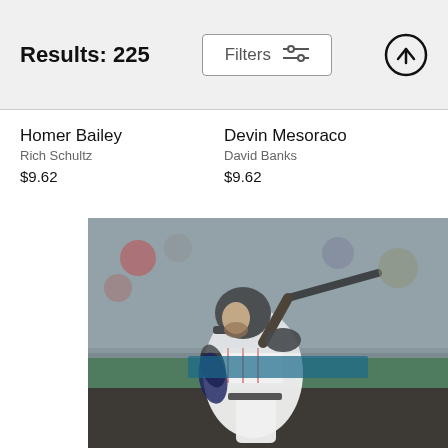Results: 225
Homer Bailey
Rich Schultz
$9.62
Devin Mesoraco
David Banks
$9.62
[Figure (photo): Minnesota Twins baseball player in a white pinstripe uniform swinging a bat during a game, with a crowd in the background.]